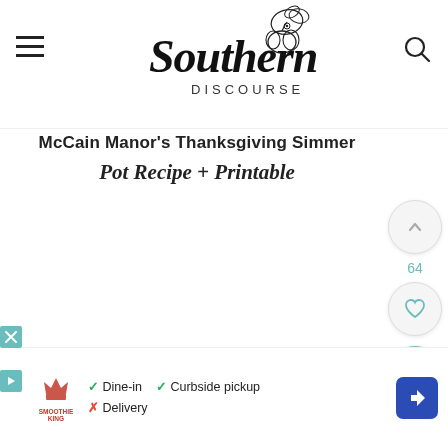Southern Discourse
McCain Manor's Thanksgiving Simmer Pot Recipe + Printable
[Figure (screenshot): White content area below title]
[Figure (infographic): Right sidebar with scroll up button (64 count), heart/like button, and teal search button]
[Figure (infographic): Bottom advertisement bar: Smoothie King ad with Dine-in, Curbside pickup checkmarks, Delivery with X mark, play icon, navigation arrow icon]